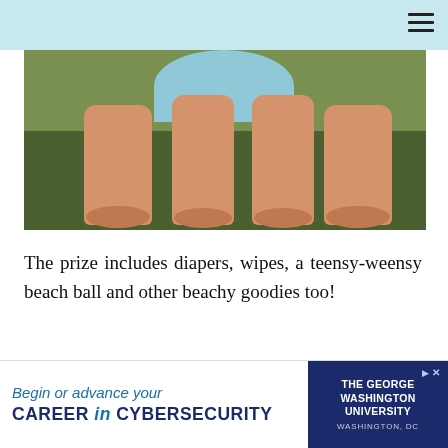[Figure (photo): Close-up photo of a baby's chubby legs and feet on green grass, wearing a light blue diaper/swim diaper, viewed from above.]
The prize includes diapers, wipes, a teensy-weensy beach ball and other beachy goodies too!
[Figure (photo): Partial photo showing what appears to be a product or food item with red/orange coloring at the bottom right, against a beige/mauve background.]
[Figure (infographic): Advertisement banner: 'Begin or advance your CAREER in CYBERSECURITY' with The George Washington University logo/text, Washington, DC.]